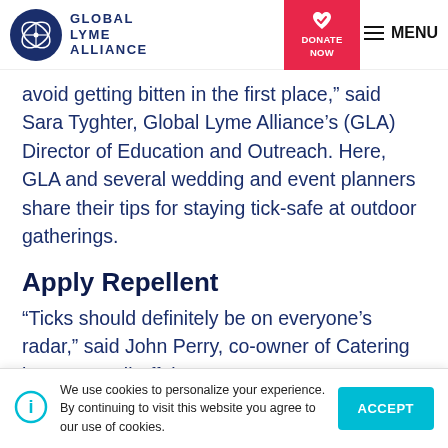Global Lyme Alliance — DONATE NOW — MENU
avoid getting bitten in the first place,” said Sara Tyghter, Global Lyme Alliance’s (GLA) Director of Education and Outreach. Here, GLA and several wedding and event planners share their tips for staying tick-safe at outdoor gatherings.
Apply Repellent
“Ticks should definitely be on everyone’s radar,” said John Perry, co-owner of Catering by… a Small Affair, a
We use cookies to personalize your experience. By continuing to visit this website you agree to our use of cookies.